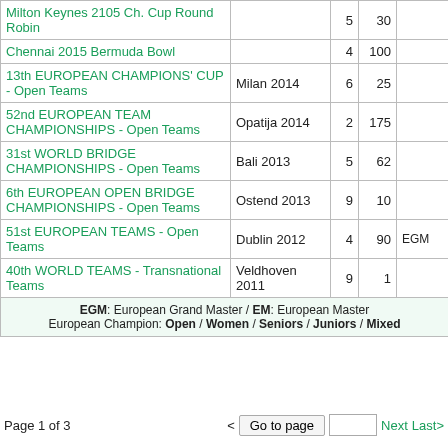| Event | Place | Pos | Pts | Award |
| --- | --- | --- | --- | --- |
| Milton Keynes 2105 Ch. Cup Round Robin |  | 5 | 30 |  |
| Chennai 2015 Bermuda Bowl |  | 4 | 100 |  |
| 13th EUROPEAN CHAMPIONS' CUP - Open Teams | Milan 2014 | 6 | 25 |  |
| 52nd EUROPEAN TEAM CHAMPIONSHIPS - Open Teams | Opatija 2014 | 2 | 175 |  |
| 31st WORLD BRIDGE CHAMPIONSHIPS - Open Teams | Bali 2013 | 5 | 62 |  |
| 6th EUROPEAN OPEN BRIDGE CHAMPIONSHIPS - Open Teams | Ostend 2013 | 9 | 10 |  |
| 51st EUROPEAN TEAMS - Open Teams | Dublin 2012 | 4 | 90 | EGM |
| 40th WORLD TEAMS - Transnational Teams | Veldhoven 2011 | 9 | 1 |  |
| EGM: European Grand Master / EM: European Master European Champion: Open / Women / Seniors / Juniors / Mixed |  |  |  |  |
Page 1 of 3   < Go to page   [input]   Next  Last>